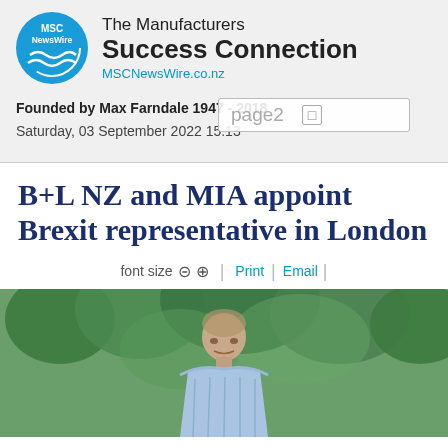[Figure (logo): MSC NewsWire circular logo in blue with white text and wave graphic]
The Manufacturers Success Connection
MSCNewsWire.co.nz
Founded by Max Farndale 1947 - 2018
Saturday, 03 September 2022 15:13
B+L NZ and MIA appoint Brexit representative in London
font size  −  +  | Print | Email
[Figure (photo): A middle-aged man in a light blue checked shirt standing outdoors with green trees in the background]